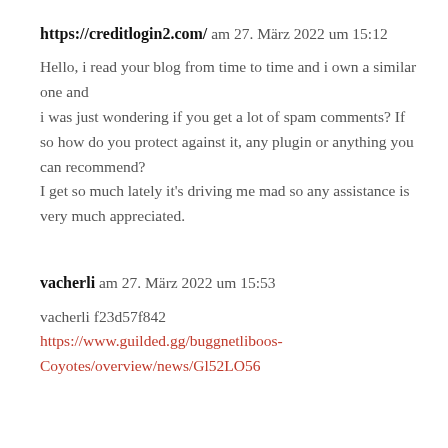https://creditlogin2.com/ am 27. März 2022 um 15:12
Hello, i read your blog from time to time and i own a similar one and i was just wondering if you get a lot of spam comments? If so how do you protect against it, any plugin or anything you can recommend? I get so much lately it's driving me mad so any assistance is very much appreciated.
vacherli am 27. März 2022 um 15:53
vacherli f23d57f842 https://www.guilded.gg/buggnetliboos-Coyotes/overview/news/Gl52LO56